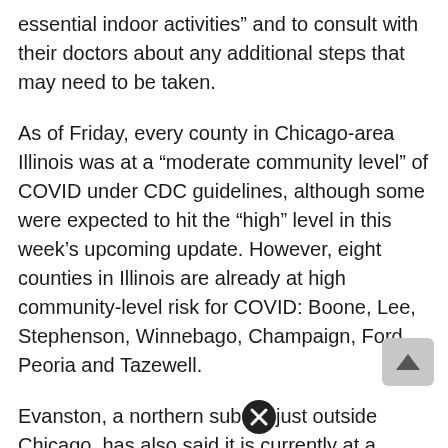essential indoor activities” and to consult with their doctors about any additional steps that may need to be taken.
As of Friday, every county in Chicago-area Illinois was at a “moderate community level” of COVID under CDC guidelines, although some were expected to hit the “high” level in this week’s upcoming update. However, eight counties in Illinois are already at high community-level risk for COVID: Boone, Lee, Stephenson, Winnebago, Champaign, Ford, Peoria and Tazewell.
Evanston, a northern suburb just outside Chicago, has also said it is currently at a “high” community level.
While city and county health officials have not said definitively that a move to the “high community level”